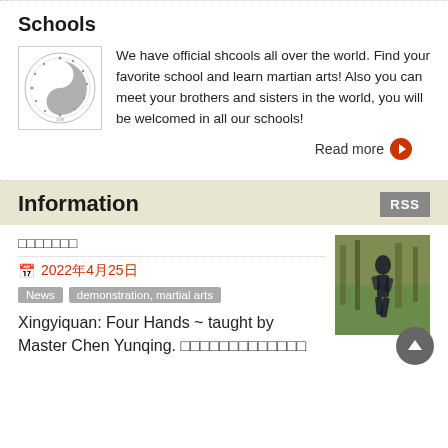Schools
[Figure (logo): Circular martial arts school logo with yin-yang symbol and Chinese characters]
We have official shcools all over the world. Find your favorite school and learn martian arts! Also you can meet your brothers and sisters in the world, you will be welcomed in all our schools!
Read more
Information
□□□□□□□
2022年4月25日
News
demonstration, martial arts
Xingyiquan: Four Hands ~ taught by Master Chen Yunqing. □□□□□□□□□□□□□
[Figure (photo): Photo of a martial arts practitioner in a forest setting]